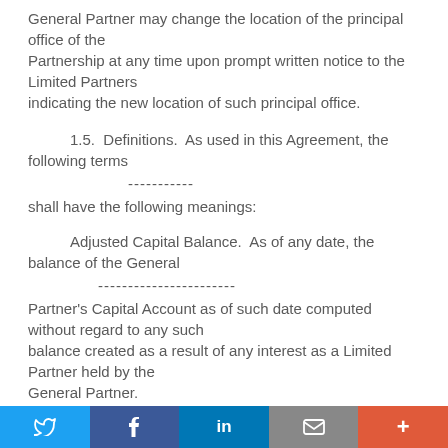General Partner may change the location of the principal office of the Partnership at any time upon prompt written notice to the Limited Partners indicating the new location of such principal office.
1.5.  Definitions.  As used in this Agreement, the following terms ----------- shall have the following meanings:
Adjusted Capital Balance.  As of any date, the balance of the General ----------------------- Partner's Capital Account as of such date computed without regard to any such balance created as a result of any interest as a Limited Partner held by the General Partner.
Social share bar: Twitter, Facebook, LinkedIn, Email, More